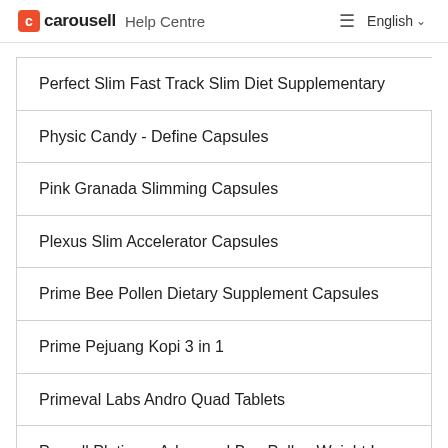Carousell Help Centre | English
Perfect Slim Fast Track Slim Diet Supplementary
Physic Candy - Define Capsules
Pink Granada Slimming Capsules
Plexus Slim Accelerator Capsules
Prime Bee Pollen Dietary Supplement Capsules
Prime Pejuang Kopi 3 in 1
Primeval Labs Andro Quad Tablets
Propell Platinum Advanced Bee Pollen Weight Loss Supplement
Protrimza 8함유 8 Slimming Effects All in One Capsules